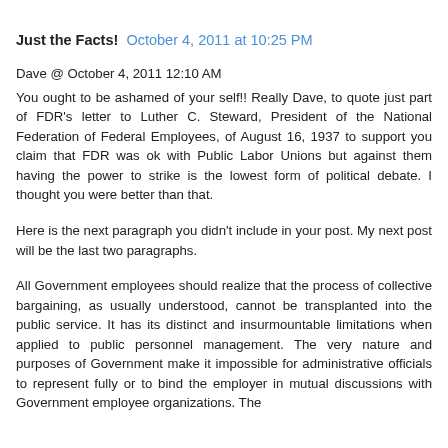Just the Facts!  October 4, 2011 at 10:25 PM
Dave @ October 4, 2011 12:10 AM
You ought to be ashamed of your self!! Really Dave, to quote just part of FDR's letter to Luther C. Steward, President of the National Federation of Federal Employees, of August 16, 1937 to support you claim that FDR was ok with Public Labor Unions but against them having the power to strike is the lowest form of political debate. I thought you were better than that.
Here is the next paragraph you didn't include in your post. My next post will be the last two paragraphs.
All Government employees should realize that the process of collective bargaining, as usually understood, cannot be transplanted into the public service. It has its distinct and insurmountable limitations when applied to public personnel management. The very nature and purposes of Government make it impossible for administrative officials to represent fully or to bind the employer in mutual discussions with Government employee organizations. The